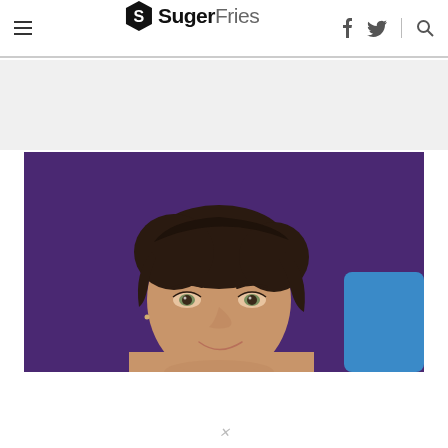SugerFries — navigation bar with hamburger menu, logo, facebook, twitter, and search icons
[Figure (photo): Close-up photo of a woman with dark hair pulled back, smiling, against a purple background. A blue object is partially visible on the right side of the frame.]